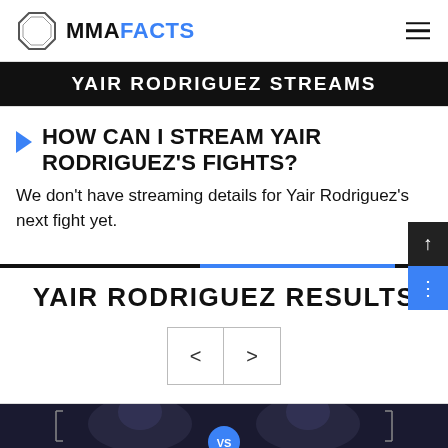MMA FACTS
YAIR RODRIGUEZ STREAMS
HOW CAN I STREAM YAIR RODRIGUEZ'S FIGHTS?
We don't have streaming details for Yair Rodriguez's next fight yet.
YAIR RODRIGUEZ RESULTS
[Figure (other): Navigation buttons with left and right chevron arrows for carousel]
[Figure (photo): Two MMA fighters face portrait with VS text between them, dark arena background]